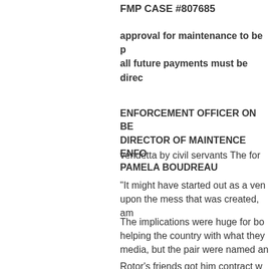FMP CASE #807685
approval for maintenance to be p all future payments must be direc
ENFORCEMENT OFFICER ON BE DIRECTOR OF MAINTENCE ENFO PAMELA BOUDREAU
vendetta by civil servants The for
"It might have started out as a ven upon the mess that was created, am
The implications were huge for bo helping the country with what they media, but the pair were named an
Rotor's friends got him contract w ended up on the front page of the G